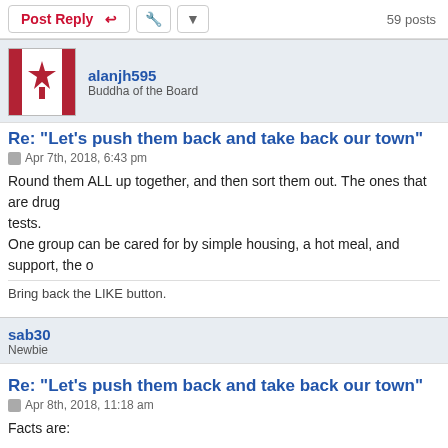Post Reply | 59 posts
alanjh595
Buddha of the Board
Re: "Let's push them back and take back our town"
Apr 7th, 2018, 6:43 pm
Round them ALL up together, and then sort them out. The ones that are drug... tests.
One group can be cared for by simple housing, a hot meal, and support, the o...
Bring back the LIKE button.
sab30
Newbie
Re: "Let's push them back and take back our town"
Apr 8th, 2018, 11:18 am
Facts are: